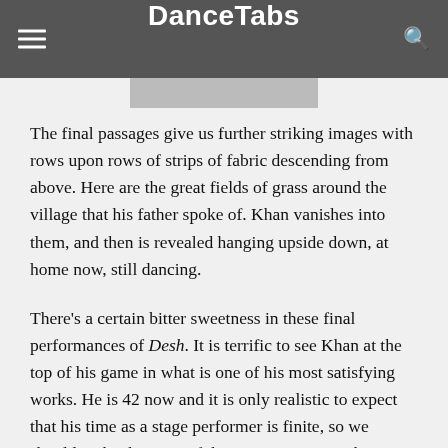DanceTabs
The final passages give us further striking images with rows upon rows of strips of fabric descending from above. Here are the great fields of grass around the village that his father spoke of. Khan vanishes into them, and then is revealed hanging upside down, at home now, still dancing.
There's a certain bitter sweetness in these final performances of Desh. It is terrific to see Khan at the top of his game in what is one of his most satisfying works. He is 42 now and it is only realistic to expect that his time as a stage performer is finite, so we should make the most of the opportunities we have to see him.